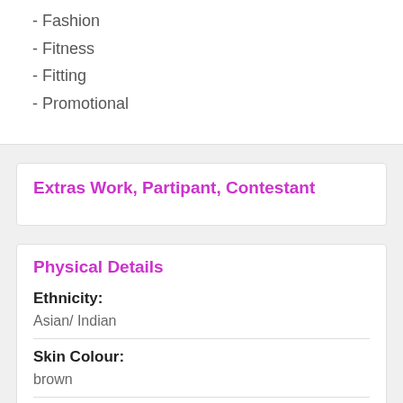- Fashion
- Fitness
- Fitting
- Promotional
Extras Work, Partipant, Contestant
Physical Details
Ethnicity:
Asian/ Indian
Skin Colour:
brown
Height: